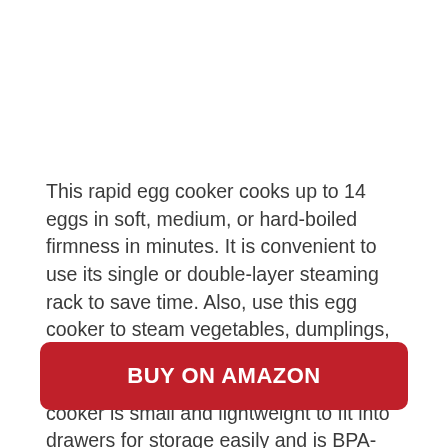This rapid egg cooker cooks up to 14 eggs in soft, medium, or hard-boiled firmness in minutes. It is convenient to use its single or double-layer steaming rack to save time. Also, use this egg cooker to steam vegetables, dumplings, seafood, and more. The auto-shut-off prevents food from overcooking. This cooker is small and lightweight to fit into drawers for storage easily and is BPA-free, perfect to put in the dishwasher.
BUY ON AMAZON